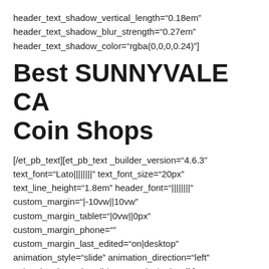header_text_shadow_vertical_length="0.18em" header_text_shadow_blur_strength="0.27em" header_text_shadow_color="rgba(0,0,0,0.24)"]
Best SUNNYVALE CA Coin Shops
[/et_pb_text][et_pb_text _builder_version="4.6.3" text_font="Lato||||||||" text_font_size="20px" text_line_height="1.8em" header_font="||||||||" custom_margin="|-10vw||10vw" custom_margin_tablet="|0vw||0px" custom_margin_phone="" custom_margin_last_edited="on|desktop" animation_style="slide" animation_direction="left" animation_intensity_slide="10%" locked="off"] Spring Hill Coin Shop is located in Spring Hill, Florida. We are your Coin Shop Near Me with a strong e-commerce presence nationally across the